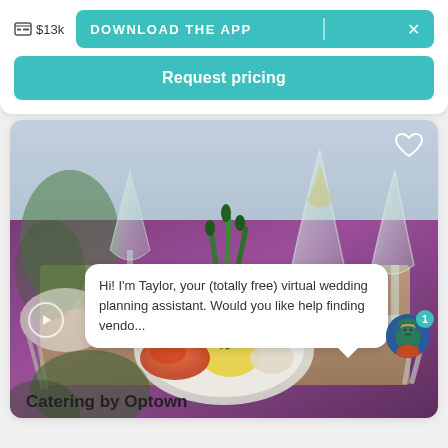$13k
DOWNLOAD THE APP
Request pricing
[Figure (photo): Wedding catering table setting with elegant food plating, asparagus garnish, wine glasses, and purple tablecloth]
Hi! I'm Taylor, your (totally free) virtual wedding planning assistant. Would you like help finding vendo...
Catering by Optown